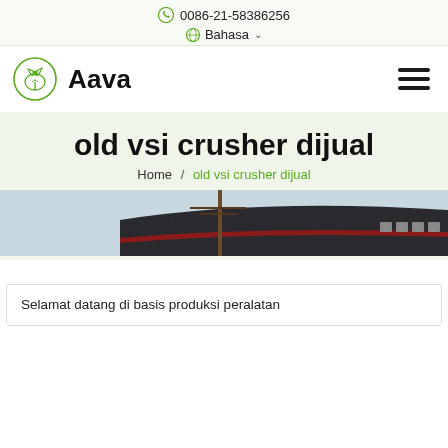0086-21-58386256
Bahasa
[Figure (logo): Aava company logo with green leaf/plant circular icon and bold text 'Aava']
old vsi crusher dijual
Home / old vsi crusher dijual
[Figure (photo): Industrial building exterior with dark roof and red stripe, utility pole in foreground]
Selamat datang di basis produksi peralatan